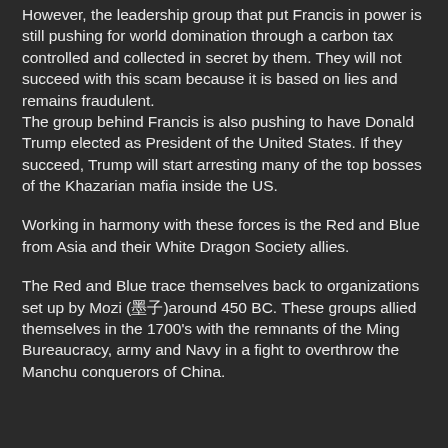However, the leadership group that put Francis in power is still pushing for world domination through a carbon tax controlled and collected in secret by them. They will not succeed with this scam because it is based on lies and remains fraudulent. The group behind Francis is also pushing to have Donald Trump elected as President of the United States. If they succeed, Trump will start arresting many of the top bosses of the Khazarian mafia inside the US.
Working in harmony with these forces is the Red and Blue from Asia and their White Dragon Society allies.
The Red and Blue trace themselves back to organizations set up by Mozi (墨子)around 450 BC. These groups allied themselves in the 1700's with the remnants of the Ming Bureaucracy, army and Navy in a fight to overthrow the Manchu conquerors of China. After several bloody failures, they finally